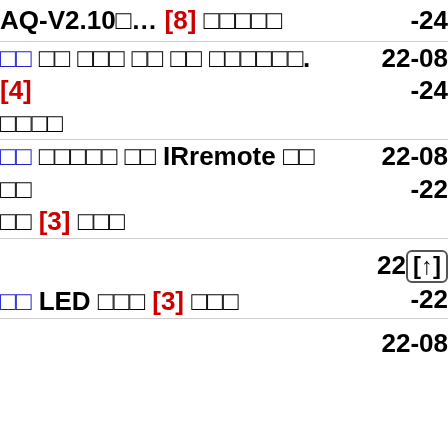| AQ-V2.10□… [8] □□□□□ | -24 |
| □□ □□ □□□ □□ □□ □□□□□□. [4] □□□□ | 22-08
-24 |
| □□ □□□□□ □□ IRremote □□ □□ □□ [3] □□□ | 22-08
-22 |
| □□ LED □□□ [3] □□□ | 22[↑]
-22 |
|  | 22-08 |